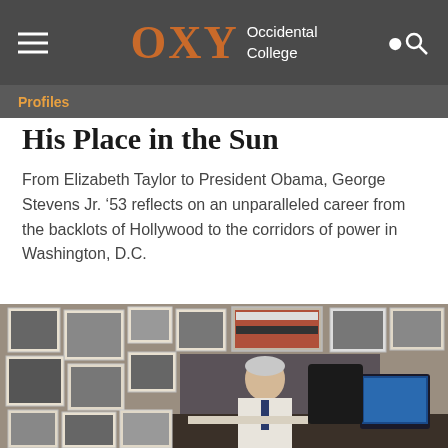OXY Occidental College — Profiles
His Place in the Sun
From Elizabeth Taylor to President Obama, George Stevens Jr. ’53 reflects on an unparalleled career from the backlots of Hollywood to the corridors of power in Washington, D.C.
[Figure (photo): An older man with silver hair sits at a desk in a home office or study, reading a document. Behind him is a wall densely covered with framed photographs and artwork. A computer monitor is visible to the right.]